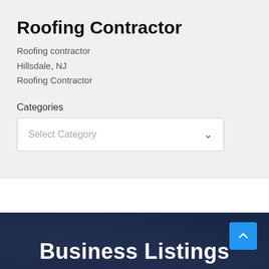Roofing Contractor
Roofing contractor
Hillsdale, NJ
Roofing Contractor
Categories
Select Category
Business Listings